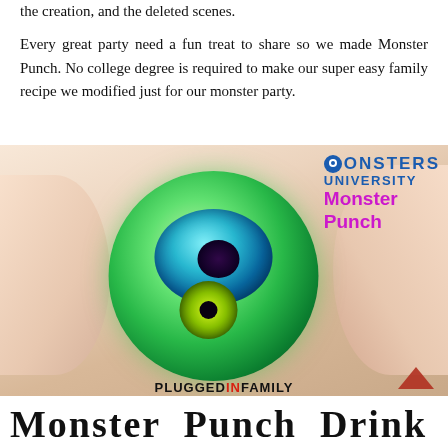the creation, and the deleted scenes.
Every great party need a fun treat to share so we made Monster Punch. No college degree is required to make our super easy family recipe we modified just for our monster party.
[Figure (photo): Hands holding a round green glowing orb resembling a monster eye, with a Monsters University Monster Punch logo overlay and PLUGGEDINFAMILY watermark.]
Monster  Punch  Drink